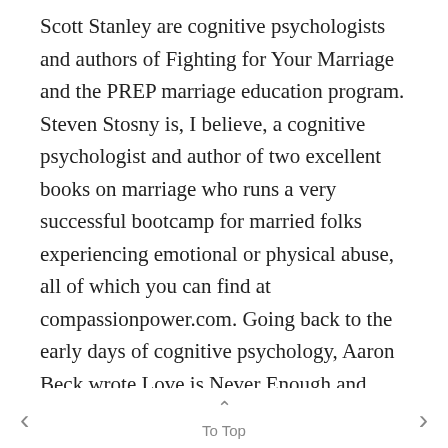Scott Stanley are cognitive psychologists and authors of Fighting for Your Marriage and the PREP marriage education program. Steven Stosny is, I believe, a cognitive psychologist and author of two excellent books on marriage who runs a very successful bootcamp for married folks experiencing emotional or physical abuse, all of which you can find at compassionpower.com. Going back to the early days of cognitive psychology, Aaron Beck wrote Love is Never Enough and Albert Ellis wrote A Guide to Successful Marriage.
And Helen Fisher is a biological anthropologist
< ^ To Top >